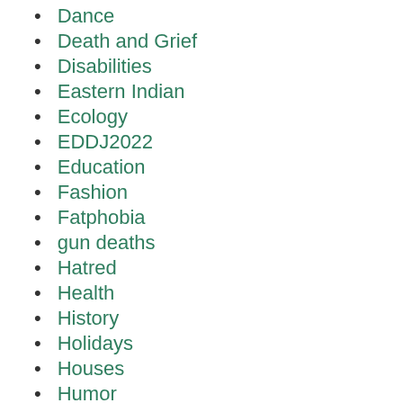Dance
Death and Grief
Disabilities
Eastern Indian
Ecology
EDDJ2022
Education
Fashion
Fatphobia
gun deaths
Hatred
Health
History
Holidays
Houses
Humor
Internet